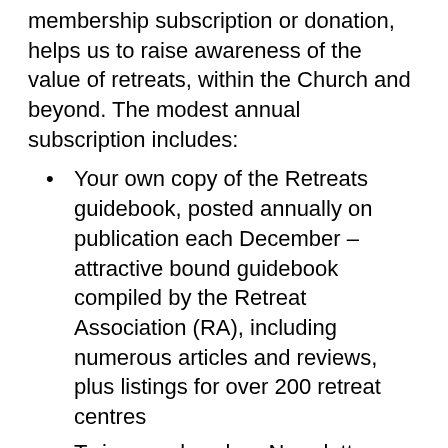membership subscription or donation, helps us to raise awareness of the value of retreats, within the Church and beyond. The modest annual subscription includes:
Your own copy of the Retreats guidebook, posted annually on publication each December – attractive bound guidebook compiled by the Retreat Association (RA), including numerous articles and reviews, plus listings for over 200 retreat centres
Twice-yearly colour Newsletter
Advance information and discounts on APR's own retreats and quiet days
A contribution paid on your behalf to the work of the Retreat Association
Regular news and offers from the Retreat Association